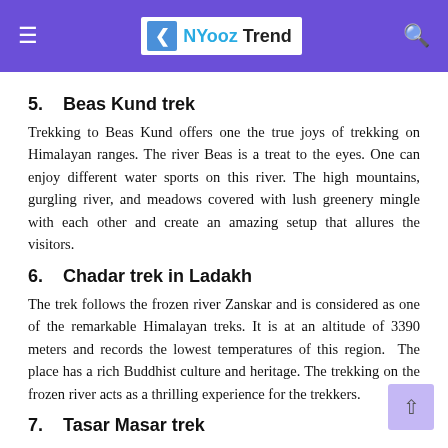NYooz Trend
5.    Beas Kund trek
Trekking to Beas Kund offers one the true joys of trekking on Himalayan ranges. The river Beas is a treat to the eyes. One can enjoy different water sports on this river. The high mountains, gurgling river, and meadows covered with lush greenery mingle with each other and create an amazing setup that allures the visitors.
6.    Chadar trek in Ladakh
The trek follows the frozen river Zanskar and is considered as one of the remarkable Himalayan treks. It is at an altitude of 3390 meters and records the lowest temperatures of this region.  The place has a rich Buddhist culture and heritage. The trekking on the frozen river acts as a thrilling experience for the trekkers.
7.    Tasar Masar trek
Trekking to the great lakes named Tasar and Masar in